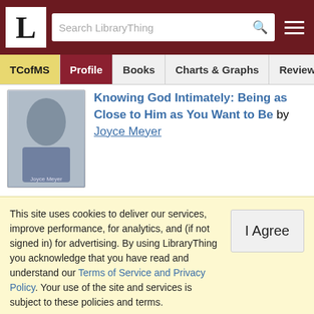[Figure (screenshot): LibraryThing website navigation bar with logo L, search box, and hamburger menu]
[Figure (screenshot): Navigation tabs: TCofMS (yellow), Profile (dark red), Books, Charts & Graphs, Reviews]
Knowing God Intimately: Being as Close to Him as You Want to Be by Joyce Meyer
TCofMS added: Move Over, Victoria-I Know the Real Secret: Surrendering the Lies that Bind You to the God Who Frees You by Nancy Kennedy
TCofMS added: The Virtuous Woman: Shattering The Superwoman Myth by Vicki Courtney
This site uses cookies to deliver our services, improve performance, for analytics, and (if not signed in) for advertising. By using LibraryThing you acknowledge that you have read and understand our Terms of Service and Privacy Policy. Your use of the site and services is subject to these policies and terms.